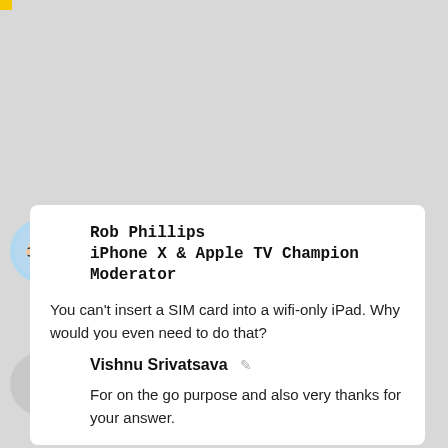Rob Phillips
iPhone X & Apple TV Champion
Moderator
You can't insert a SIM card into a wifi-only iPad. Why would you even need to do that?
03-27-2016 09:55 AM
Vishnu Srivatsava
For on the go purpose and also very thanks for your answer.